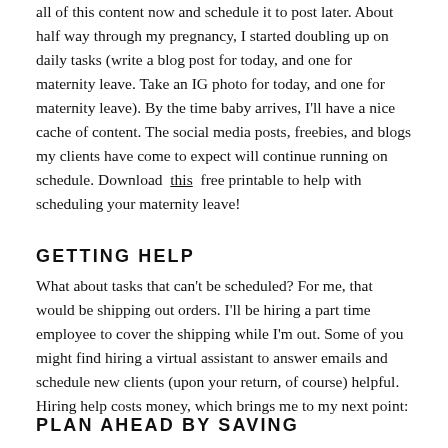all of this content now and schedule it to post later. About half way through my pregnancy, I started doubling up on daily tasks (write a blog post for today, and one for maternity leave. Take an IG photo for today, and one for maternity leave). By the time baby arrives, I'll have a nice cache of content. The social media posts, freebies, and blogs my clients have come to expect will continue running on schedule. Download this free printable to help with scheduling your maternity leave!
GETTING HELP
What about tasks that can't be scheduled? For me, that would be shipping out orders. I'll be hiring a part time employee to cover the shipping while I'm out. Some of you might find hiring a virtual assistant to answer emails and schedule new clients (upon your return, of course) helpful. Hiring help costs money, which brings me to my next point:
PLAN AHEAD BY SAVING